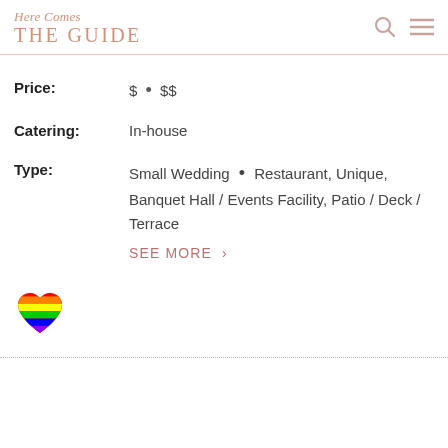Here Comes THE GUIDE
Price: $ • $$
Catering: In-house
Type: Small Wedding • Restaurant, Unique, Banquet Hall / Events Facility, Patio / Deck / Terrace
SEE MORE >
[Figure (illustration): Rainbow heart emoji / icon]